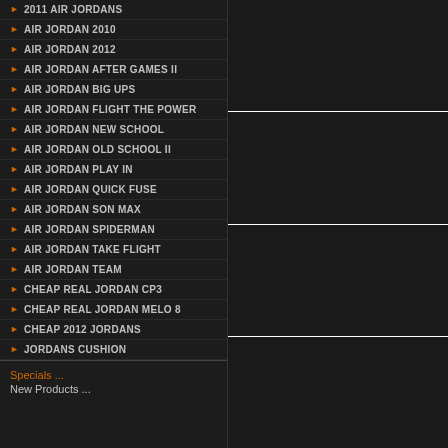2011 AIR JORDANS
AIR JORDAN 2010
AIR JORDAN 2012
AIR JORDAN AFTER GAMES II
AIR JORDAN BIG UPS
AIR JORDAN FLIGHT THE POWER
AIR JORDAN NEW SCHOOL
AIR JORDAN OLD SCHOOL II
AIR JORDAN PLAY IN
AIR JORDAN QUICK FUSE
AIR JORDAN SON MAX
AIR JORDAN SPIDERMAN
AIR JORDAN TAKE FLIGHT
AIR JORDAN TEAM
CHEAP REAL JORDAN CP3
CHEAP REAL JORDAN MELO 8
CHEAP 2012 JORDANS
JORDANS CUSHION
Specials ...
New Products ...